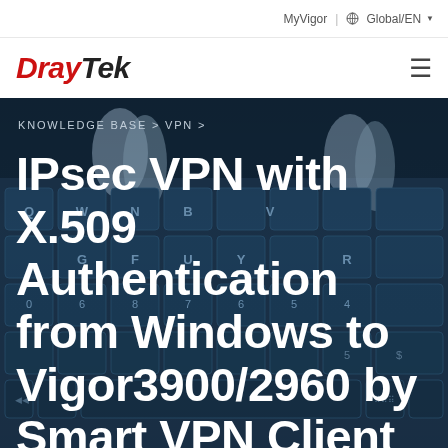MyVigor | Global/EN
[Figure (logo): DrayTek logo in red italic text with hamburger menu icon]
[Figure (photo): Dark blue-toned close-up photo of hands typing on a laptop keyboard, used as hero background image]
KNOWLEDGE BASE > VPN >
IPsec VPN with X.509 Authentication from Windows to Vigor3900/2960 by Smart VPN Client